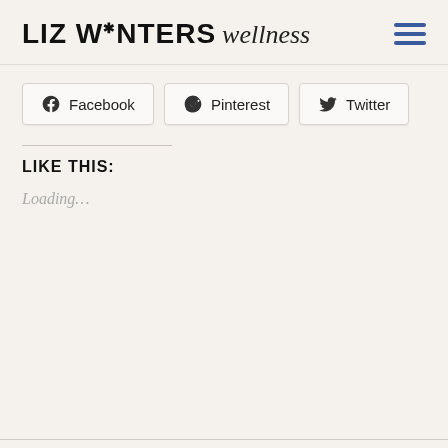LIZ WINTERS wellness
Facebook  Pinterest  Twitter
LIKE THIS:
Loading...